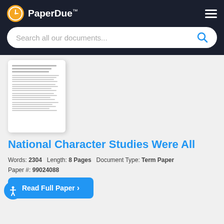PaperDue™
Search all our documents...
[Figure (illustration): Preview thumbnail of a multi-page text document with lines of text]
National Character Studies Were All
Words: 2304   Length: 8 Pages   Document Type: Term Paper
Paper #: 99024088
Read Full Paper ❯